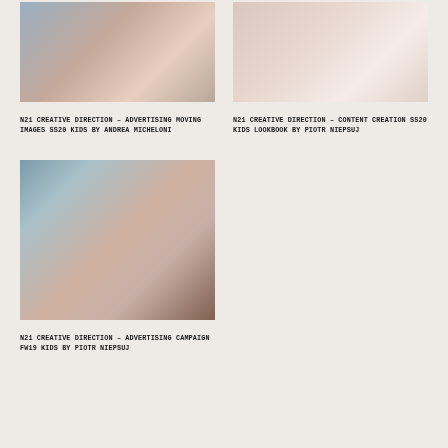[Figure (photo): Blurred fashion/advertising image with muted teal and peach tones - N21 kids moving images]
N21 CREATIVE DIRECTION – ADVERTISING MOVING IMAGES SS20 KIDS BY ANDREA MICHELONI
[Figure (photo): Blurred fashion/advertising image with soft warm peach tones - N21 kids lookbook]
N21 CREATIVE DIRECTION – CONTENT CREATION SS20 KIDS LOOKBOOK BY PIOTR NIEPSUJ
[Figure (photo): Blurred fashion/advertising image with teal, peach and dark tones - N21 FW19 kids campaign]
N21 CREATIVE DIRECTION – ADVERTISING CAMPAIGN FW19 KIDS BY PIOTR NIEPSUJ